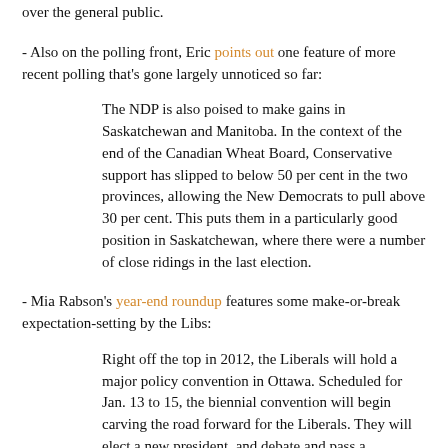over the general public.
- Also on the polling front, Eric points out one feature of more recent polling that's gone largely unnoticed so far:
The NDP is also poised to make gains in Saskatchewan and Manitoba. In the context of the end of the Canadian Wheat Board, Conservative support has slipped to below 50 per cent in the two provinces, allowing the New Democrats to pull above 30 per cent. This puts them in a particularly good position in Saskatchewan, where there were a number of close ridings in the last election.
- Mia Rabson's year-end roundup features some make-or-break expectation-setting by the Libs:
Right off the top in 2012, the Liberals will hold a major policy convention in Ottawa. Scheduled for Jan. 13 to 15, the biennial convention will begin carving the road forward for the Liberals. They will elect a new president, and debate and pass a